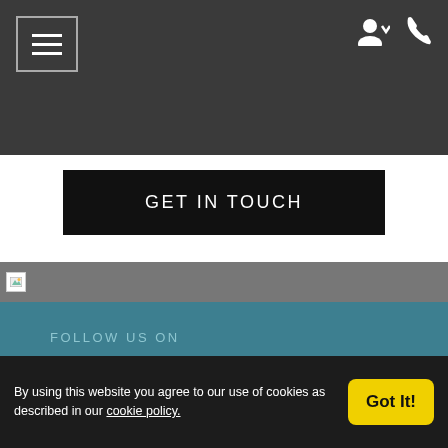Navigation bar with hamburger menu, user icon, and phone icon
GET IN TOUCH
[Figure (photo): Image strip with broken image icon at left]
FOLLOW US ON
[Figure (illustration): Facebook and Instagram social media icons in white boxes]
CALL US NOW
(702) 213-6681
By using this website you agree to our use of cookies as described in our cookie policy.